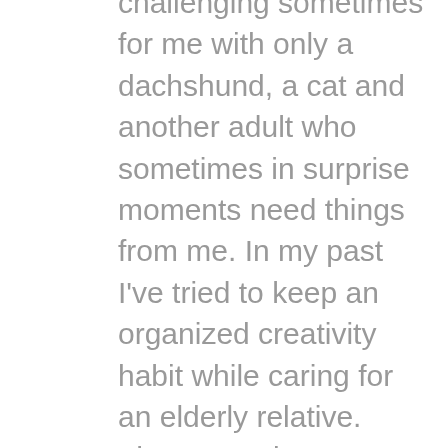challenging sometimes for me with only a dachshund, a cat and another adult who sometimes in surprise moments need things from me. In my past I've tried to keep an organized creativity habit while caring for an elderly relative. There are always monkey wrenches that get thrown into any organization plan. Just this week our dishwasher decided to break… so that has interrupted things. For me I find that the obstacles are the path…so rather than focus on having a system work smoothly i try to focus on the flexibility, fun-ness and sustainability of the system. It's not always smooth for me either… there are many tempting parking places and